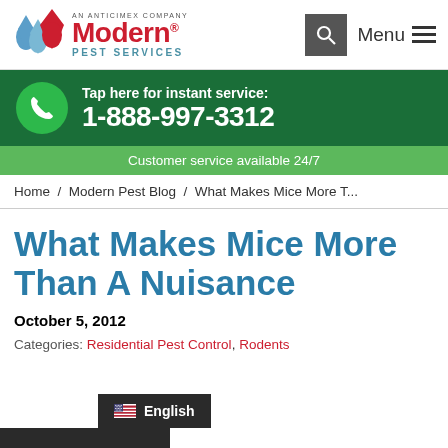AN ANTICIMEX COMPANY Modern® PEST SERVICES
[Figure (logo): Modern Pest Services logo with blue water drop shapes and red shield]
[Figure (infographic): Tap here for instant service: 1-888-997-3312 phone banner with green phone icon circle]
Customer service available 24/7
Home / Modern Pest Blog / What Makes Mice More T...
What Makes Mice More Than A Nuisance
October 5, 2012
Categories: Residential Pest Control, Rodents